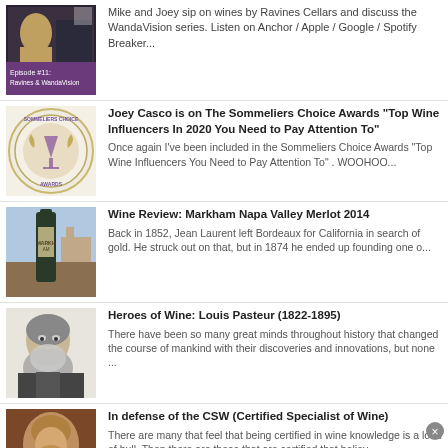Mike and Joey sip on wines by Ravines Cellars and discuss the WandaVision series. Listen on Anchor / Apple / Google / Spotify Breaker...
Joey Casco is on The Sommeliers Choice Awards "Top Wine Influencers In 2020 You Need to Pay Attention To" Once again I've been included in the Sommeliers Choice Awards "Top Wine Influencers You Need to Pay Attention To" . WOOHOO...
Wine Review: Markham Napa Valley Merlot 2014 Back in 1852, Jean Laurent left Bordeaux for California in search of gold. He struck out on that, but in 1874 he ended up founding one o...
Heroes of Wine: Louis Pasteur (1822-1895) There have been so many great minds throughout history that changed the course of mankind with their discoveries and innovations, but none ...
In defense of the CSW (Certified Specialist of Wine) There are many that feel that being certified in wine knowledge is a load of bull. Then there are those that are certified that believ...